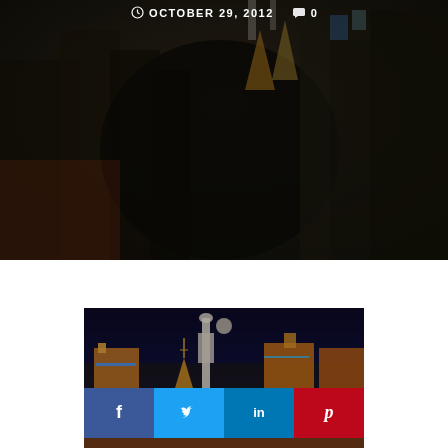[Figure (photo): Dark aerial city photo with overlay of buildings at night, partially blurred]
OCTOBER 29, 2012   0
[Figure (photo): Las Vegas Strip skyline at night with colorful illuminated casino buildings]
[Figure (infographic): Social share buttons: Facebook, Twitter, LinkedIn, Pinterest overlaid on the Las Vegas photo]